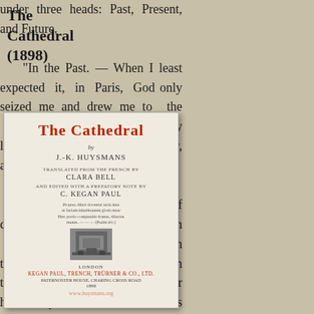The Cathedral (1898)
[Figure (photo): Book cover of 'The Cathedral' by J.-K. Huysmans, translated from the French by Clara Bell and edited with a prefatory note by C. Kegan Paul. Published in London by Kegan Paul, Trench, Trübner & Co., Ltd., Paternoster House, Charing Cross Road, 1898. Title in red, with a publisher's emblem woodcut and watermark www.huysmans.org.]
Translated by Clara Bell
under three heads: Past, Present, and Future.
"In the Past. — When I least expected it, in Paris, God only seized me and drew me to the Church, taking advantage of my love of Art, of ism, of the Liturgy, and of song.
"Still, during the travail of conversion, I could not study ism anywhere but in I knew it only in theory and not in practice. — On the other hand, in Paris, I never heard any but dull, lifeless music, watered down, as it were, in